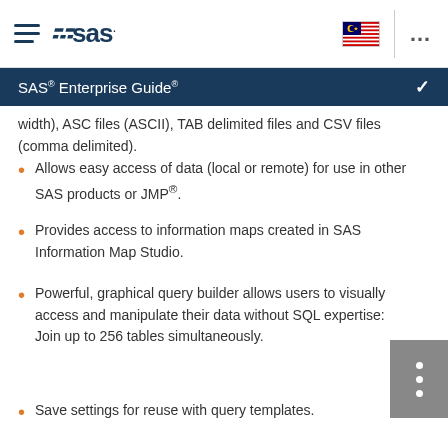SAS Enterprise Guide
width), ASC files (ASCII), TAB delimited files and CSV files (comma delimited).
Allows easy access of data (local or remote) for use in other SAS products or JMP®.
Provides access to information maps created in SAS Information Map Studio.
Powerful, graphical query builder allows users to visually access and manipulate their data without SQL expertise: Join up to 256 tables simultaneously.
Save settings for reuse with query templates.